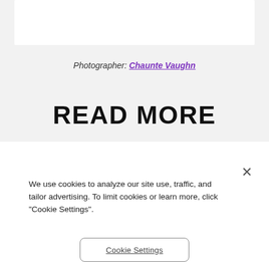[Figure (other): White rectangular box at top of page, likely image placeholder]
Photographer: Chaunte Vaughn
READ MORE
We use cookies to analyze our site use, traffic, and tailor advertising. To limit cookies or learn more, click "Cookie Settings".
Cookie Settings